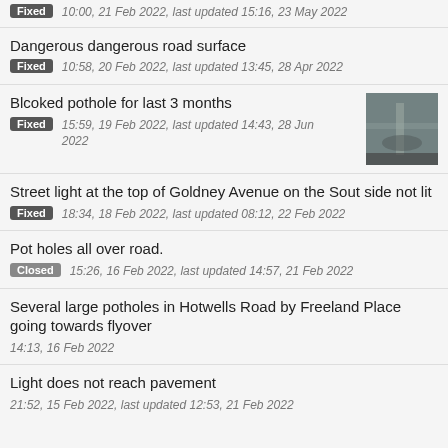Fixed  10:00, 21 Feb 2022, last updated 15:16, 23 May 2022
Dangerous dangerous road surface
Fixed  10:58, 20 Feb 2022, last updated 13:45, 28 Apr 2022
Blcoked pothole for last 3 months
Fixed  15:59, 19 Feb 2022, last updated 14:43, 28 Jun 2022
Street light at the top of Goldney Avenue on the Sout side not lit
Fixed  18:34, 18 Feb 2022, last updated 08:12, 22 Feb 2022
Pot holes all over road.
Closed  15:26, 16 Feb 2022, last updated 14:57, 21 Feb 2022
Several large potholes in Hotwells Road by Freeland Place going towards flyover
14:13, 16 Feb 2022
Light does not reach pavement
21:52, 15 Feb 2022, last updated 12:53, 21 Feb 2022